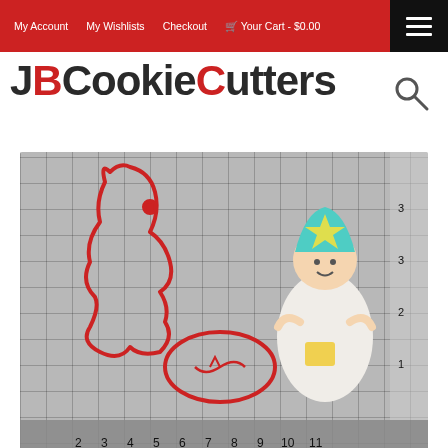My Account  My Wishlists  Checkout  Your Cart - $0.00
[Figure (logo): JBCookieCutters logo — JB in dark/black, C and second C in red, rest in dark/black, bold large font]
[Figure (photo): Product photo of Angel Boy 100 Cookie Cutter Set: two red 3D-printed cookie cutters on a measuring grid — one troll/angel body shape and one face/head shape, with a colorful decorated cookie of a troll angel boy in white robe with teal hair]
Angel Boy 100 Cookie Cutter Set